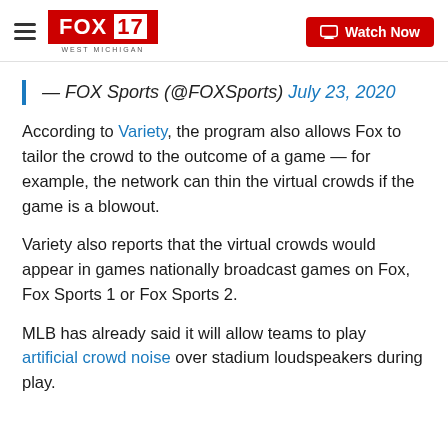FOX 17 WEST MICHIGAN | Watch Now
— FOX Sports (@FOXSports) July 23, 2020
According to Variety, the program also allows Fox to tailor the crowd to the outcome of a game — for example, the network can thin the virtual crowds if the game is a blowout.
Variety also reports that the virtual crowds would appear in games nationally broadcast games on Fox, Fox Sports 1 or Fox Sports 2.
MLB has already said it will allow teams to play artificial crowd noise over stadium loudspeakers during play.